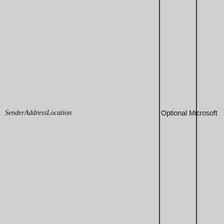[Figure (other): Page showing a table or layout with three vertical columns with gray backgrounds separated by dark vertical lines. The first wide column contains italic text 'SenderAddressLocation'. The second narrower column contains text 'Optional'. The third column contains text 'Microsoft' (partially visible).]
SenderAddressLocation
Optional Microsoft